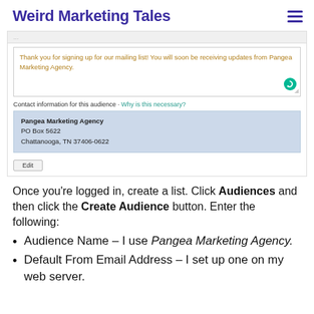Weird Marketing Tales
[Figure (screenshot): Screenshot of a Mailchimp audience settings page showing a confirmation message text box reading 'Thank you for signing up for our mailing list! You will soon be receiving updates from Pangea Marketing Agency.' and a Contact information section showing Pangea Marketing Agency, PO Box 5622, Chattanooga, TN 37406-0622 in a blue box, with an Edit button below.]
Once you’re logged in, create a list. Click Audiences and then click the Create Audience button. Enter the following:
Audience Name – I use Pangea Marketing Agency.
Default From Email Address – I set up one on my web server.